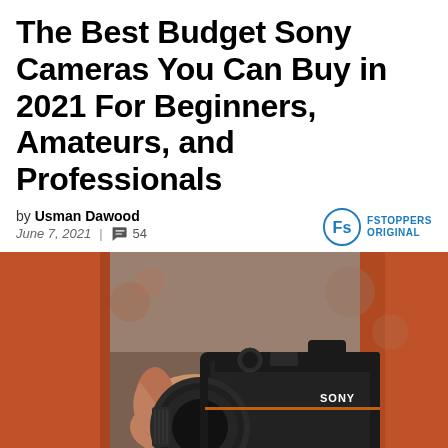The Best Budget Sony Cameras You Can Buy in 2021 For Beginners, Amateurs, and Professionals
by Usman Dawood
June 7, 2021 | 54
[Figure (photo): Hands holding a black Sony mirrorless camera with a lens attached, person wearing an orange/red shirt in background]